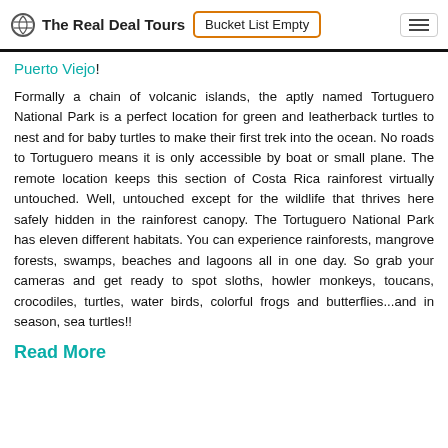The Real Deal Tours | Bucket List Empty
Puerto Viejo!
Formally a chain of volcanic islands, the aptly named Tortuguero National Park is a perfect location for green and leatherback turtles to nest and for baby turtles to make their first trek into the ocean. No roads to Tortuguero means it is only accessible by boat or small plane. The remote location keeps this section of Costa Rica rainforest virtually untouched. Well, untouched except for the wildlife that thrives here safely hidden in the rainforest canopy. The Tortuguero National Park has eleven different habitats. You can experience rainforests, mangrove forests, swamps, beaches and lagoons all in one day. So grab your cameras and get ready to spot sloths, howler monkeys, toucans, crocodiles, turtles, water birds, colorful frogs and butterflies...and in season, sea turtles!!
Read More